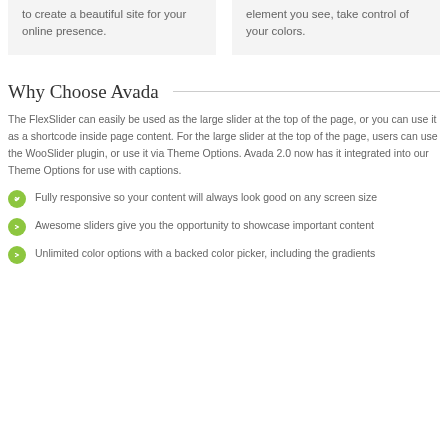to create a beautiful site for your online presence.
element you see, take control of your colors.
Why Choose Avada
The FlexSlider can easily be used as the large slider at the top of the page, or you can use it as a shortcode inside page content. For the large slider at the top of the page, users can use the WooSlider plugin, or use it via Theme Options. Avada 2.0 now has it integrated into our Theme Options for use with captions.
Fully responsive so your content will always look good on any screen size
Awesome sliders give you the opportunity to showcase important content
Unlimited color options with a backed color picker, including the gradients